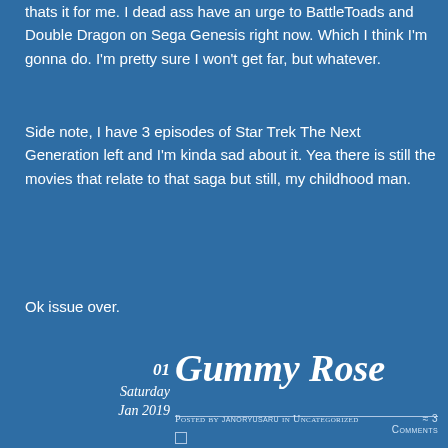thats it for me. I dead ass have an urge to BattleToads and Double Dragon on Sega Genesis right now. Which I think I'm gonna do. I'm pretty sure I won't get far, but whatever.
Side note, I have 3 episodes of Star Trek The Next Generation left and I'm kinda sad about it. Yea there is still the movies that relate to that saga but still, my childhood man.
Ok issue over.
01
Saturday
Jan 2019
Gummy Rose
Posted by janoryusaru in Uncategorized ≈ 3 Comments